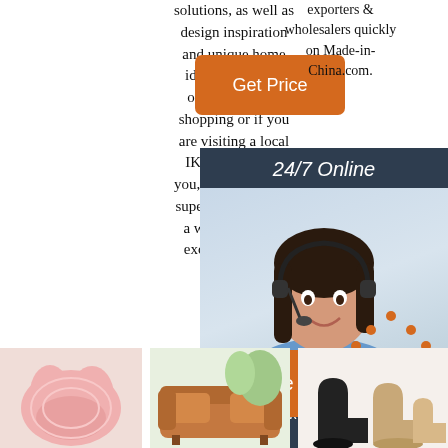solutions, as well as design inspiration and unique home ideas! If you are online furniture shopping or if you are visiting a local IKEA store near you, you can expect super low prices on a wide variety of exciting home ...
[Figure (other): Orange 'Get Price' button (top center)]
exporters & wholesalers quickly on Made-in-China.com.
[Figure (infographic): 24/7 Online chat support advertisement with woman wearing headset, 'Click here for free chat !' text, and orange QUOTATION button]
[Figure (other): Partial orange 'G...' button (middle)]
[Figure (other): Orange 'Get Price' button (bottom left)]
[Figure (logo): TOP logo with orange dots forming a hat shape above the text TOP]
[Figure (photo): Pink fluffy sheepskin rug thumbnail]
[Figure (photo): Brown leather sofa thumbnail]
[Figure (photo): Black and beige ankle boot shoes thumbnail]